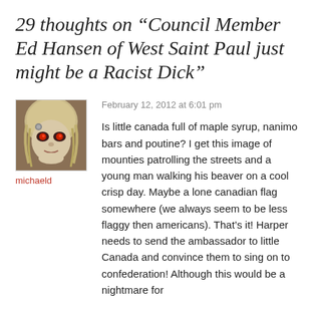29 thoughts on “Council Member Ed Hansen of West Saint Paul just might be a Racist Dick”
[Figure (photo): Avatar image of commenter michaeld — an illustrated or digitally altered face with light hair and stylized features]
michaeld
February 12, 2012 at 6:01 pm
Is little canada full of maple syrup, nanimo bars and poutine? I get this image of mounties patrolling the streets and a young man walking his beaver on a cool crisp day. Maybe a lone canadian flag somewhere (we always seem to be less flaggy then americans). That’s it! Harper needs to send the ambassador to little Canada and convince them to sing on to confederation! Although this would be a nightmare for